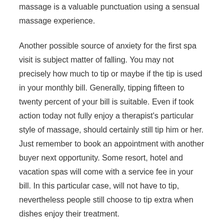massage is a valuable punctuation using a sensual massage experience.
Another possible source of anxiety for the first spa visit is subject matter of falling. You may not precisely how much to tip or maybe if the tip is used in your monthly bill. Generally, tipping fifteen to twenty percent of your bill is suitable. Even if took action today not fully enjoy a therapist's particular style of massage, should certainly still tip him or her. Just remember to book an appointment with another buyer next opportunity. Some resort, hotel and vacation spas will come with a service fee in your bill. In this particular case, will not have to tip, nevertheless people still choose to tip extra when dishes enjoy their treatment.
Falling asleep at attempts are not always the best idea, until you end up being the boss! A massage will refresh you so much that hopefully that won't happen any yeast problem!
During a massage, it's totally choose even when you wish to have